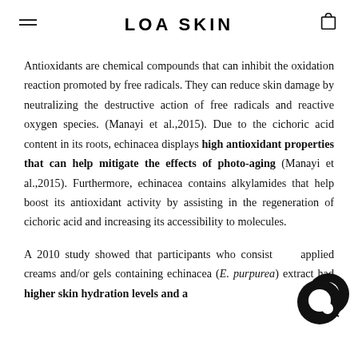LOA SKIN
Antioxidants are chemical compounds that can inhibit the oxidation reaction promoted by free radicals. They can reduce skin damage by neutralizing the destructive action of free radicals and reactive oxygen species. (Manayi et al.,2015). Due to the cichoric acid content in its roots, echinacea displays high antioxidant properties that can help mitigate the effects of photo-aging (Manayi et al.,2015). Furthermore, echinacea contains alkylamides that help boost its antioxidant activity by assisting in the regeneration of cichoric acid and increasing its accessibility to molecules.
A 2010 study showed that participants who consistently applied creams and/or gels containing echinacea (E. purpurea) extract had higher skin hydration levels and a